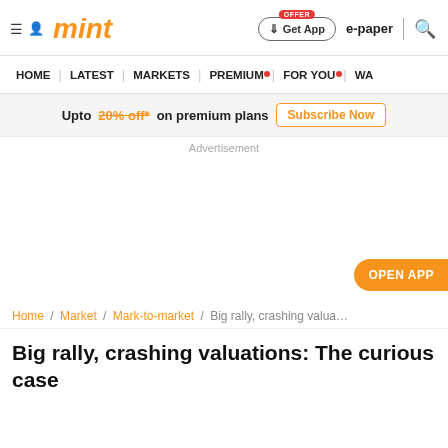mint — Get App | e-paper | search
HOME | LATEST | MARKETS | PREMIUM | FOR YOU | WA
Upto 20% off* on premium plans — Subscribe Now
Advertisement
OPEN APP
Home / Market / Mark-to-market / Big rally, crashing valua…
Big rally, crashing valuations: The curious case